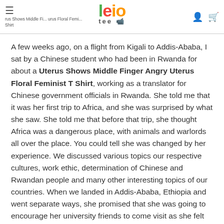≡ ...rus Shows Middle Fi... ...urus Floral Femi... Shirt | leio tee
A few weeks ago, on a flight from Kigali to Addis-Ababa, I sat by a Chinese student who had been in Rwanda for about a Uterus Shows Middle Finger Angry Uterus Floral Feminist T Shirt, working as a translator for Chinese government officials in Rwanda. She told me that it was her first trip to Africa, and she was surprised by what she saw. She told me that before that trip, she thought Africa was a dangerous place, with animals and warlords all over the place. You could tell she was changed by her experience. We discussed various topics our respective cultures, work ethic, determination of Chinese and Rwandan people and many other interesting topics of our countries. When we landed in Addis-Ababa, Ethiopia and went separate ways, she promised that she was going to encourage her university friends to come visit as she felt bad for all the stereotypes she initially had...